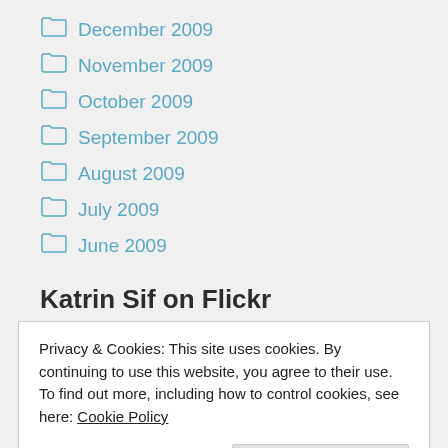December 2009
November 2009
October 2009
September 2009
August 2009
July 2009
June 2009
Katrin Sif on Flickr
Privacy & Cookies: This site uses cookies. By continuing to use this website, you agree to their use.
To find out more, including how to control cookies, see here: Cookie Policy
Close and accept